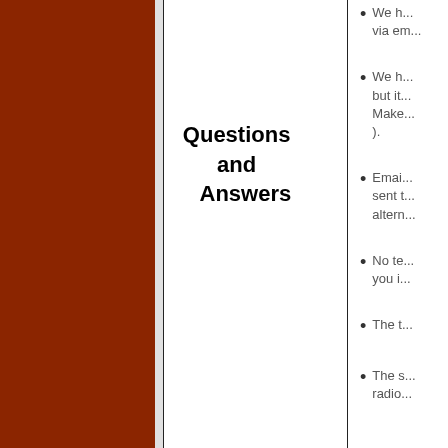Questions and Answers
We h... via em...
We h... but it... Make... ).
Emai... sent t... altern...
No te... you i...
The t...
The s... radio...